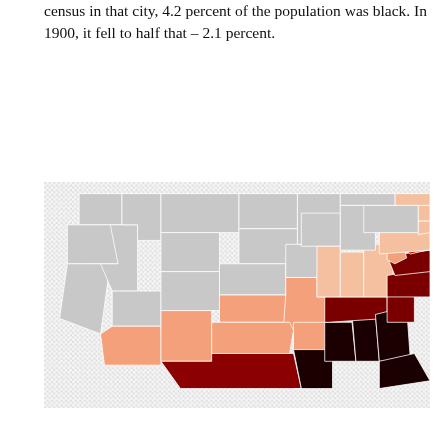census in that city, 4.2 percent of the population was black. In 1900, it fell to half that – 2.1 percent.
[Figure (map): Choropleth map of the United States showing percentage of Black population by state, with Southern states colored dark red to black (highest percentages), some Mid-Atlantic and border states in medium red, central states in light salmon/peach, and western/northern states in gray (lowest or negligible percentages).]